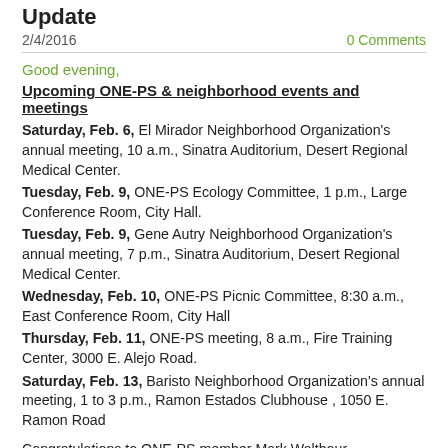Update
2/4/2016
0 Comments
Good evening,
Upcoming ONE-PS & neighborhood events and meetings
Saturday, Feb. 6, El Mirador Neighborhood Organization's annual meeting, 10 a.m., Sinatra Auditorium, Desert Regional Medical Center.
Tuesday, Feb. 9, ONE-PS Ecology Committee, 1 p.m., Large Conference Room, City Hall.
Tuesday, Feb. 9, Gene Autry Neighborhood Organization's annual meeting, 7 p.m., Sinatra Auditorium, Desert Regional Medical Center.
Wednesday, Feb. 10, ONE-PS Picnic Committee, 8:30 a.m., East Conference Room, City Hall
Thursday, Feb. 11, ONE-PS meeting, 8 a.m., Fire Training Center, 3000 E. Alejo Road.
Saturday, Feb. 13, Baristo Neighborhood Organization's annual meeting, 1 to 3 p.m., Ramon Estados Clubhouse , 1050 E. Ramon Road
Congratulations to ONE-PS member Mark Walthour, representative from the Desert Highland Gateway Estates neighborhood and